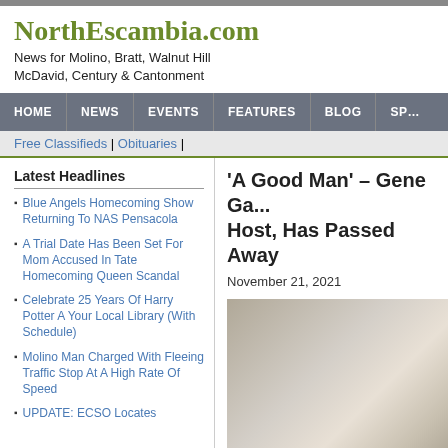NorthEscambia.com
News for Molino, Bratt, Walnut Hill McDavid, Century & Cantonment
HOME | NEWS | EVENTS | FEATURES | BLOG | SP...
Free Classifieds | Obituaries |
Latest Headlines
Blue Angels Homecoming Show Returning To NAS Pensacola
A Trial Date Has Been Set For Mom Accused In Tate Homecoming Queen Scandal
Celebrate 25 Years Of Harry Potter A Your Local Library (With Schedule)
Molino Man Charged With Fleeing Traffic Stop At A High Rate Of Speed
UPDATE: ECSO Locates
'A Good Man' – Gene Ga... Host, Has Passed Away
November 21, 2021
[Figure (photo): Outdoor photo, blurred natural background with muted greens and browns]